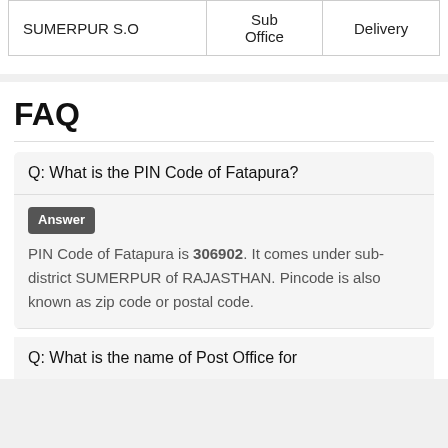| SUMERPUR S.O | Sub Office | Delivery |
FAQ
Q: What is the PIN Code of Fatapura?
Answer
PIN Code of Fatapura is 306902. It comes under sub-district SUMERPUR of RAJASTHAN. Pincode is also known as zip code or postal code.
Q: What is the name of Post Office for